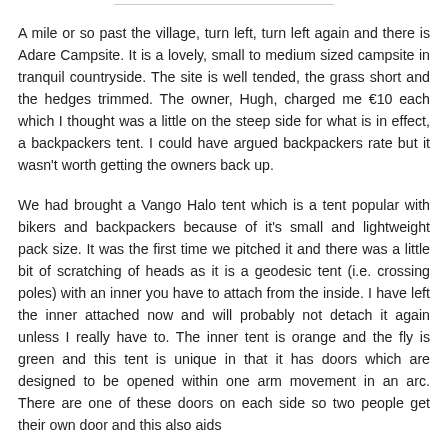A mile or so past the village, turn left, turn left again and there is Adare Campsite. It is a lovely, small to medium sized campsite in tranquil countryside. The site is well tended, the grass short and the hedges trimmed. The owner, Hugh, charged me €10 each which I thought was a little on the steep side for what is in effect, a backpackers tent. I could have argued backpackers rate but it wasn't worth getting the owners back up.
We had brought a Vango Halo tent which is a tent popular with bikers and backpackers because of it's small and lightweight pack size. It was the first time we pitched it and there was a little bit of scratching of heads as it is a geodesic tent (i.e. crossing poles) with an inner you have to attach from the inside. I have left the inner attached now and will probably not detach it again unless I really have to. The inner tent is orange and the fly is green and this tent is unique in that it has doors which are designed to be opened within one arm movement in an arc. There are one of these doors on each side so two people get their own door and this also aids